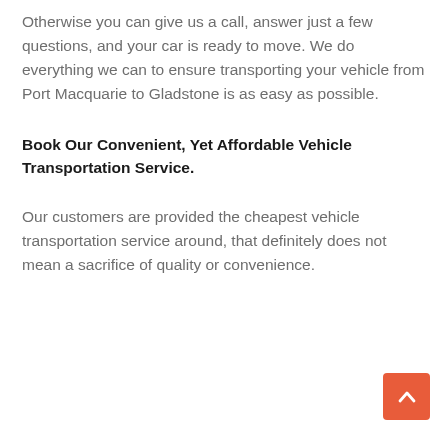Otherwise you can give us a call, answer just a few questions, and your car is ready to move. We do everything we can to ensure transporting your vehicle from Port Macquarie to Gladstone is as easy as possible.
Book Our Convenient, Yet Affordable Vehicle Transportation Service.
Our customers are provided the cheapest vehicle transportation service around, that definitely does not mean a sacrifice of quality or convenience.